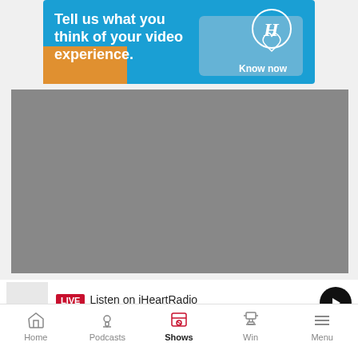[Figure (screenshot): Advertisement banner with blue background showing text 'Tell us what you think of your video experience.' with a Herald logo circle and 'Know now' text, orange overlay at bottom left]
[Figure (screenshot): Grey video player area]
LIVE Listen on iHeartRadio
[Figure (screenshot): Bottom navigation bar with Home, Podcasts, Shows (active/pink), Win, Menu icons]